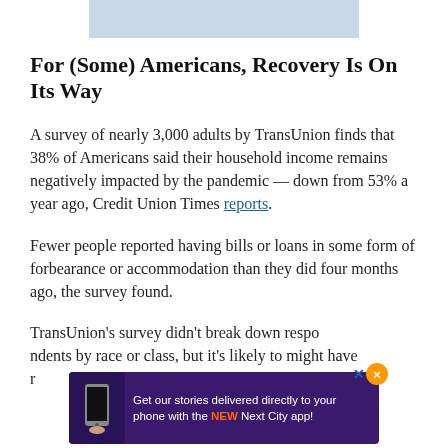[Figure (illustration): Light blue rectangular banner image at the top center of the page]
For (Some) Americans, Recovery Is On Its Way
A survey of nearly 3,000 adults by TransUnion finds that 38% of Americans said their household income remains negatively impacted by the pandemic — down from 53% a year ago, Credit Union Times reports.
Fewer people reported having bills or loans in some form of forbearance or accommodation than they did four months ago, the survey found.
TransUnion's survey didn't break down respondents by race or class, but it's likely to have [...]
[Figure (illustration): Advertisement banner: purple background with phone icon on left and text 'Get our stories delivered directly to your phone with the NEW Next City app!' with an orange close button and blue X button]